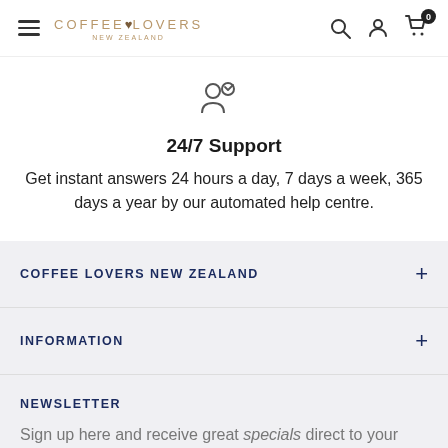Coffee Lovers New Zealand — navigation header with hamburger menu, logo, search, account, and cart icons
[Figure (illustration): Customer support icon showing silhouettes of two people/chat]
24/7 Support
Get instant answers 24 hours a day, 7 days a week, 365 days a year by our automated help centre.
COFFEE LOVERS NEW ZEALAND
INFORMATION
NEWSLETTER
Sign up here and receive great specials direct to your inbox